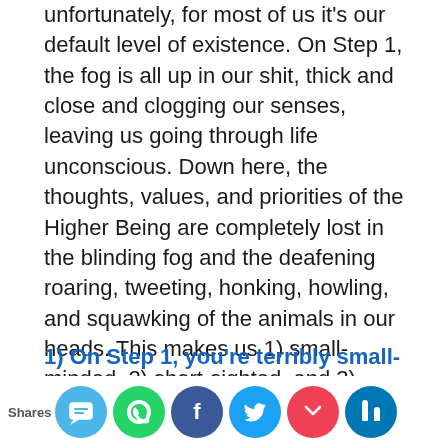unfortunately, for most of us it's our default level of existence. On Step 1, the fog is all up in our shit, thick and close and clogging our senses, leaving us going through life unconscious. Down here, the thoughts, values, and priorities of the Higher Being are completely lost in the blinding fog and the deafening roaring, tweeting, honking, howling, and squawking of the animals in our heads. This makes us 1) small-minded, 2) short-sighted, and 3) stupid. Let's discuss each of these:
1) On Step 1, you're terribly small-minded because the animals are running the show.
…hen look at the wide range of motivating…